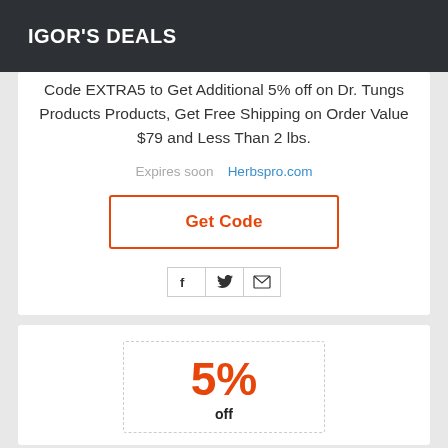IGOR'S DEALS
Code EXTRA5 to Get Additional 5% off on Dr. Tungs Products Products, Get Free Shipping on Order Value $79 and Less Than 2 lbs.
Expires soon   Herbspro.com
Get Code
5%
off